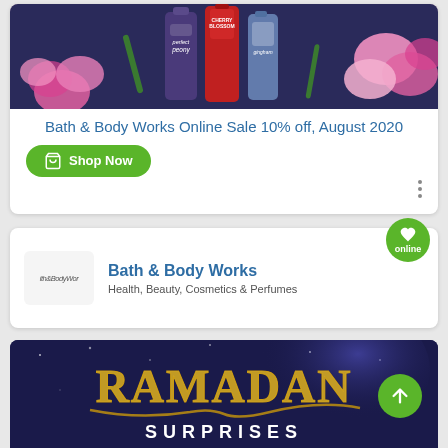[Figure (photo): Product image showing Bath & Body Works body care product bottles (perfect peony, Cherry Blossom, gingham) with pink flowers on a dark blue background]
Bath & Body Works Online Sale 10% off, August 2020
Shop Now
[Figure (logo): Bath & Body Works logo in italic text]
Bath & Body Works
Health, Beauty, Cosmetics & Perfumes
[Figure (photo): Ramadan Surprises promotional banner with golden text on dark blue starry background]